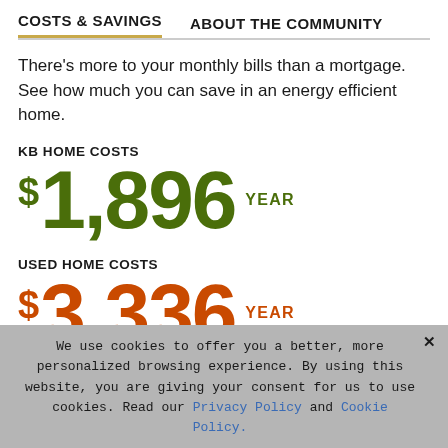COSTS & SAVINGS   ABOUT THE COMMUNITY
There's more to your monthly bills than a mortgage. See how much you can save in an energy efficient home.
KB HOME COSTS
$1,896 YEAR
USED HOME COSTS
$3,336 YEAR
We use cookies to offer you a better, more personalized browsing experience. By using this website, you are giving your consent for us to use cookies. Read our Privacy Policy and Cookie Policy.